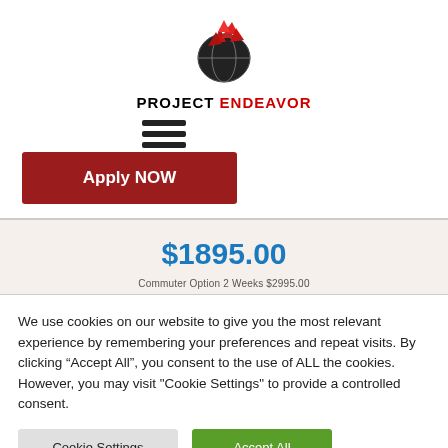[Figure (logo): Project Endeavor logo: globe with red and black triangular shapes on top, with text PROJECT ENDEAVOR below]
[Figure (other): Hamburger menu icon (three horizontal lines)]
Apply NOW
$1895.00
Commuter Option 2 Weeks $2995.00
We use cookies on our website to give you the most relevant experience by remembering your preferences and repeat visits. By clicking “Accept All”, you consent to the use of ALL the cookies. However, you may visit "Cookie Settings" to provide a controlled consent.
Cookie Settings
Accept All